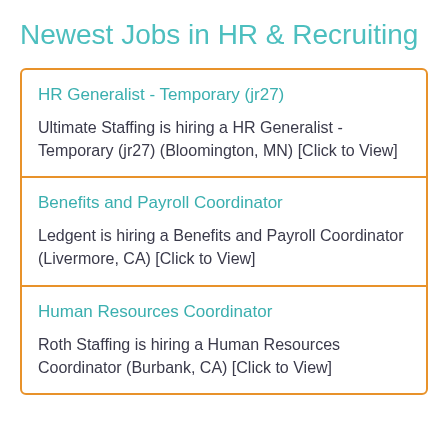Newest Jobs in HR & Recruiting
HR Generalist - Temporary (jr27)

Ultimate Staffing is hiring a HR Generalist - Temporary (jr27) (Bloomington, MN) [Click to View]
Benefits and Payroll Coordinator

Ledgent is hiring a Benefits and Payroll Coordinator (Livermore, CA) [Click to View]
Human Resources Coordinator

Roth Staffing is hiring a Human Resources Coordinator (Burbank, CA) [Click to View]